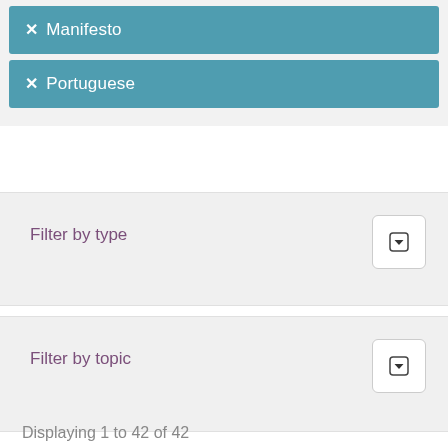✕ Manifesto
✕ Portuguese
Filter by type
Filter by topic
Displaying 1 to 42 of 42